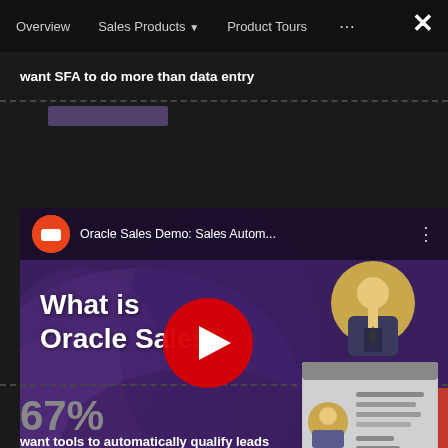Overview   Sales Products   Product Tours   ...
want SFA to do more than data entry
[Figure (screenshot): Oracle Sales Demo: Sales Autom... YouTube video thumbnail showing 'What is Oracle Sales?' with a purple background, play button, animated character avatars, and an ID card graphic. Oracle logo at top left.]
67%
want tools to automatically qualify leads